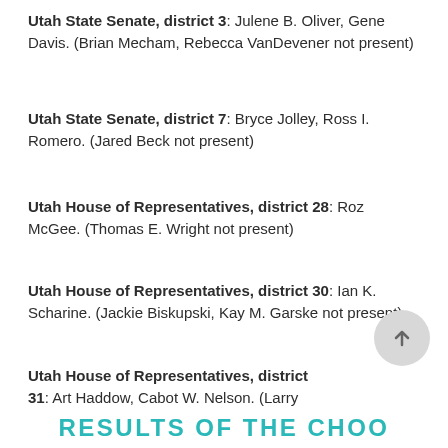Utah State Senate, district 3: Julene B. Oliver, Gene Davis. (Brian Mecham, Rebecca VanDevener not present)
Utah State Senate, district 7: Bryce Jolley, Ross I. Romero. (Jared Beck not present)
Utah House of Representatives, district 28: Roz McGee. (Thomas E. Wright not present)
Utah House of Representatives, district 30: Ian K. Scharine. (Jackie Biskupski, Kay M. Garske not present)
Utah House of Representatives, district 31: Art Haddow, Cabot W. Nelson. (Larry Wiley not present)
RESULTS OF THE CHOO